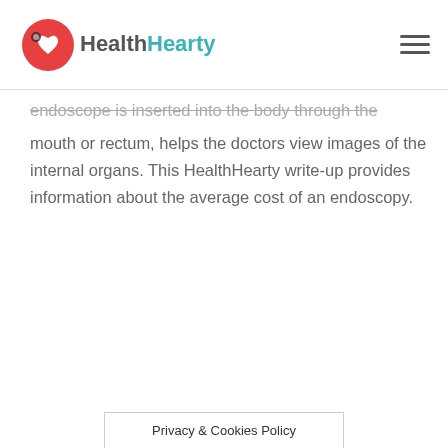HealthHearty
endoscope is inserted into the body through the mouth or rectum, helps the doctors view images of the internal organs. This HealthHearty write-up provides information about the average cost of an endoscopy.
Privacy & Cookies Policy